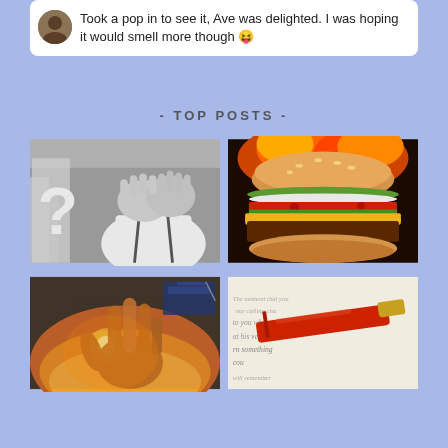Took a pop in to see it, Ave was delighted. I was hoping it would smell more though 😜
- TOP POSTS -
[Figure (photo): Black and white photo of a young boy covering his face with both hands, wearing a white shirt and suspenders, with a question mark visible on the left side]
[Figure (photo): Close-up color photo of a large cheeseburger with sesame seed bun, lettuce, tomato, onion, cheese, and meat patty, with fire/flames visible in the background]
[Figure (photo): Photo of a hand pressed against a glass or window with warm sunset light in the background, with a graduation cap visible]
[Figure (photo): Photo of a red pen lying on top of handwritten text on paper, with cursive writing visible including phrases like 'to you wh', 'at his very own', 'rn something', 'cou']